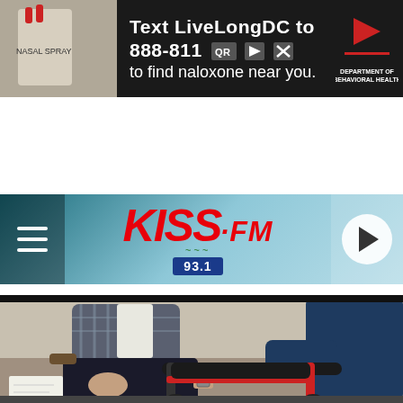[Figure (other): Advertisement banner: text reads 'Text LiveLongDC to 888-811 to find naloxone near you.' with DC DOH logo on right, and product imagery on left]
[Figure (logo): KISS-FM 93.1 radio station navigation bar with hamburger menu on left, KISS-FM logo in center, and play button circle on right]
LISTEN NOW ▶  TODAY'S BEST MIX
[Figure (other): Facebook Share button (dark blue) and Twitter Tweet button (light blue) side by side]
[Figure (photo): Photo of elderly person seated in chair wearing plaid shirt and dark pants, with a red walker/rollator in foreground, and another person in navy blue clothing visible on right assisting them]